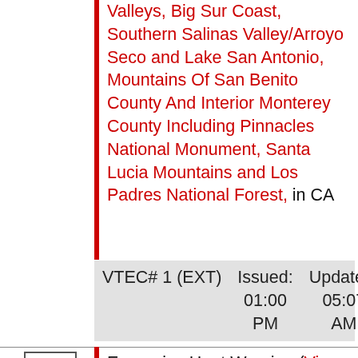Valleys, Big Sur Coast, Southern Salinas Valley/Arroyo Seco and Lake San Antonio, Mountains Of San Benito County And Interior Monterey County Including Pinnacles National Monument, Santa Lucia Mountains and Los Padres National Forest, in CA
| VTEC# 1 (EXT) | Issued: 01:00 PM | Updated: 05:07 AM |
| --- | --- | --- |
Excessive Heat Warning (View Text) expires 10:00 PM by STO ()
Northeast Foothills/Sacramento Valley, Motherlode, West Slope Northern Sierra Nevada, Western Plumas County/Lassen Park, Shasta Lake Area / Northern Shasta County, Northern Sacramento Valley, Central Sacramento Valley, Southern Sacramento Valley, Carquinez Strait and Delta, Northern San Joaquin Valley, Mountains Southwestern Shasta County to Northern Lake